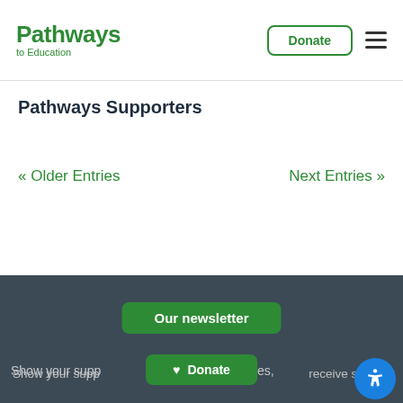Pathways to Education — Donate — Menu
Pathways Supporters
« Older Entries
Next Entries »
Our newsletter — Show your support, receive stories,
Donate